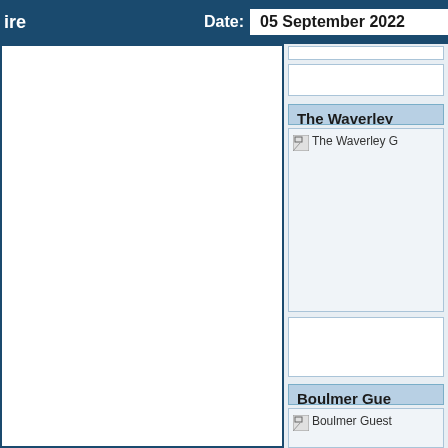ire   Date: 05 September 2022
[Figure (screenshot): Left panel - large empty white content area with blue border]
[Figure (screenshot): Small white box in right panel]
The Waverley
[Figure (photo): Broken image placeholder: The Waverley G...]
[Figure (screenshot): Small white box below Waverley image]
Boulmer Gue
[Figure (photo): Broken image placeholder: Boulmer Guest...]